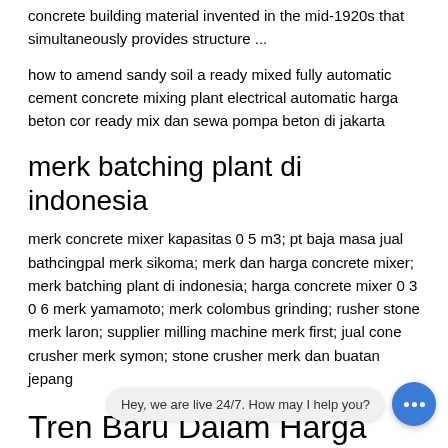concrete building material invented in the mid-1920s that simultaneously provides structure ...
how to amend sandy soil a ready mixed fully automatic cement concrete mixing plant electrical automatic harga beton cor ready mix dan sewa pompa beton di jakarta
merk batching plant di indonesia
merk concrete mixer kapasitas 0 5 m3; pt baja masa jual bathcingpal merk sikoma; merk dan harga concrete mixer; merk batching plant di indonesia; harga concrete mixer 0 3 0 6 merk yamamoto; merk colombus grinding; rusher stone merk laron; supplier milling machine merk first; jual cone crusher merk symon; stone crusher merk dan buatan jepang
Tren Baru Dalam Harga Teknologi Beton
Tren Teknologi SDM untuk 2019 Urbanhire HR Resources. Berikut ini beberapa diharapkan dapat terus berlanjut di tahun 2019 Pendekatan dengan Kecerdasan Buatan (AI) Para ahli percaya bahwa di